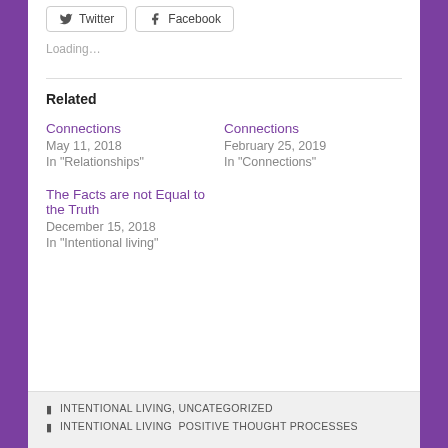Twitter  Facebook
Loading…
Related
Connections
May 11, 2018
In "Relationships"
Connections
February 25, 2019
In "Connections"
The Facts are not Equal to the Truth
December 15, 2018
In "Intentional living"
INTENTIONAL LIVING, UNCATEGORIZED
INTENTIONAL LIVING  POSITIVE THOUGHT PROCESSES